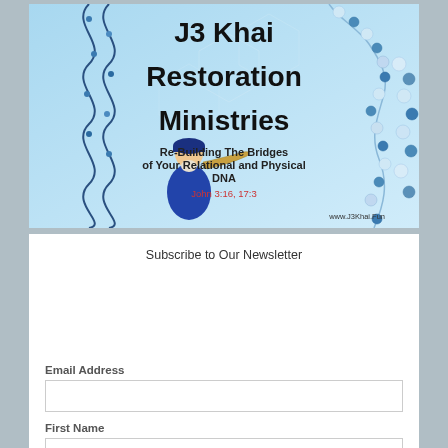[Figure (illustration): J3 Khai Restoration Ministries banner image with DNA strands, a man blowing a shofar, and text: J3 Khai Restoration Ministries - Re-Building The Bridges of Your Relational and Physical DNA. John 3:16, 17:3. www.J3Khai.Fun]
Subscribe to Our Newsletter
Email Address
First Name